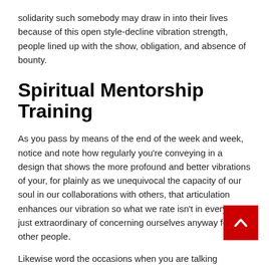solidarity such somebody may draw in into their lives because of this open style-decline vibration strength, people lined up with the show, obligation, and absence of bounty.
Spiritual Mentorship Training
As you pass by means of the end of the week and week, notice and note how regularly you're conveying in a design that shows the more profound and better vibrations of your, for plainly as we unequivocal the capacity of our soul in our collaborations with others, that articulation enhances our vibration so what we rate isn't in every case just extraordinary of concerning ourselves anyway for other people.
Likewise word the occasions when you are talking curtness, with a suppressor at the vibration of your soul.